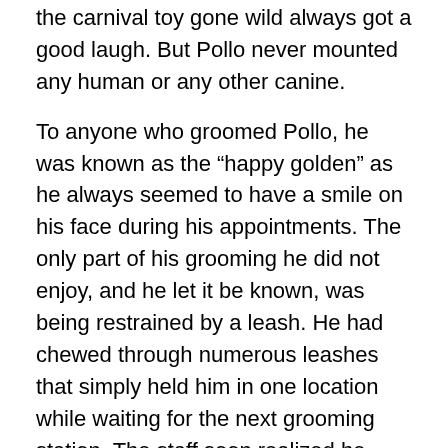the carnival toy gone wild always got a good laugh.  But Pollo never mounted any human or any other canine.
To anyone who groomed Pollo, he was known as the “happy golden” as he always seemed to have a smile on his face during his appointments.  The only part of his grooming he did not enjoy, and he let it be known, was being restrained by a leash.  He had chewed through numerous leashes that simply held him in one location while waiting for the next grooming station.  The staff soon realized he needed to go from one station to the next.  It cost them too much money replacing leashes.
Pollo got along with all the numerous other animals in our house whether another canine just visiting, or the four cats, two guinea pigs, and two frogs.
Importantly, he got along with both of my children.  One of